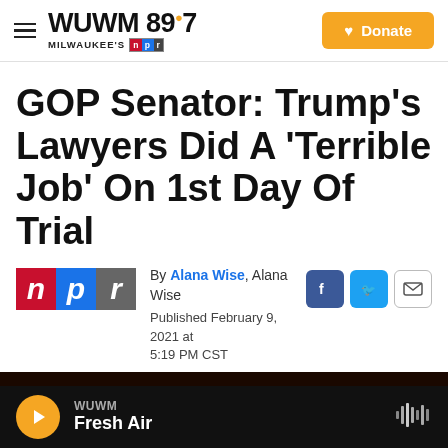WUWM 89.7 MILWAUKEE'S NPR — Donate
GOP Senator: Trump's Lawyers Did A 'Terrible Job' On 1st Day Of Trial
By Alana Wise, Alana Wise
Published February 9, 2021 at 5:19 PM CST
[Figure (photo): Dark photo showing a person, partially visible at the bottom of the page]
WUWM Fresh Air